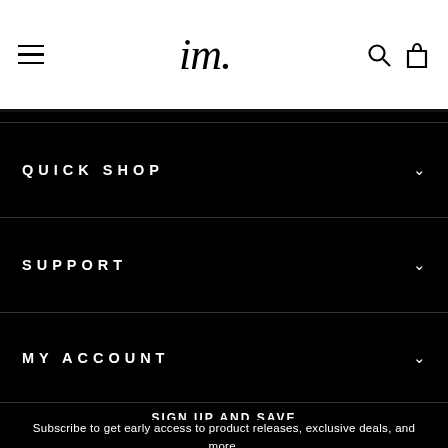im. [logo with hamburger menu, search icon, and cart icon]
QUICK SHOP
SUPPORT
MY ACCOUNT
SIGN UP AND SAVE
Subscribe to get early access to product releases, exclusive deals, and more.